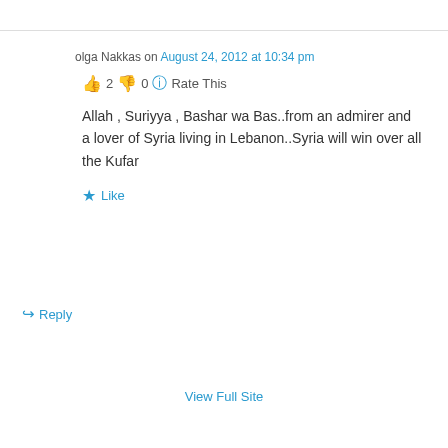olga Nakkas on August 24, 2012 at 10:34 pm
👍 2 👎 0 ℹ Rate This
Allah , Suriyya , Bashar wa Bas..from an admirer and a lover of Syria living in Lebanon..Syria will win over all the Kufar
★ Like
↪ Reply
View Full Site